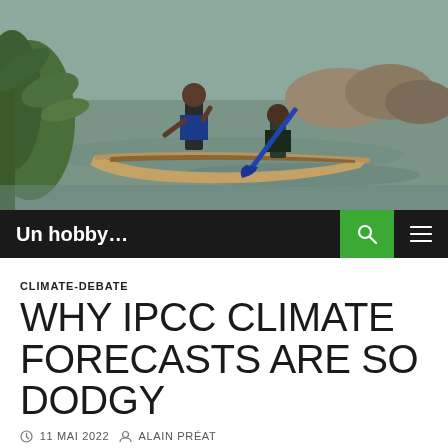[Figure (photo): Two men in a wooden dugout canoe on a muddy river, with green vegetation on the left bank and rocks in the background.]
Un hobby...
CLIMATE-DEBATE
WHY IPCC CLIMATE FORECASTS ARE SO DODGY
11 MAI 2022   ALAIN PRÉAT
by R. Barmy, May 5, 2022 in ClimateChangeDispatch